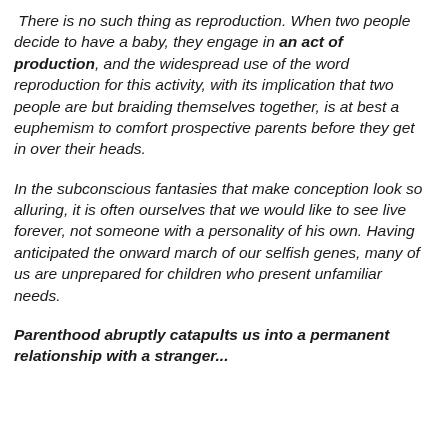There is no such thing as reproduction. When two people decide to have a baby, they engage in an act of production, and the widespread use of the word reproduction for this activity, with its implication that two people are but braiding themselves together, is at best a euphemism to comfort prospective parents before they get in over their heads.
In the subconscious fantasies that make conception look so alluring, it is often ourselves that we would like to see live forever, not someone with a personality of his own. Having anticipated the onward march of our selfish genes, many of us are unprepared for children who present unfamiliar needs.
Parenthood abruptly catapults us into a permanent relationship with a stranger...